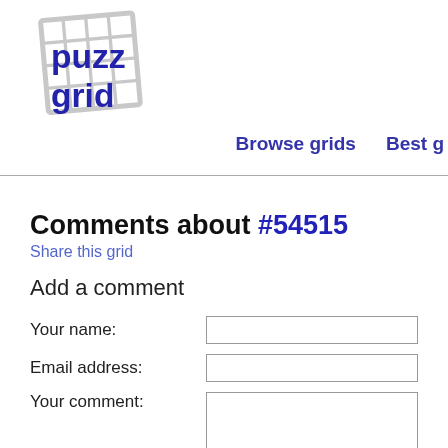[Figure (logo): Puzzgrid logo: a grid/crossword icon in light grey with 'puzz' and 'grid' text in dark blue/indigo bold font overlaid]
Browse grids   Best g
Comments about #54515
Share this grid
Add a comment
Your name:
Email address:
Your comment: